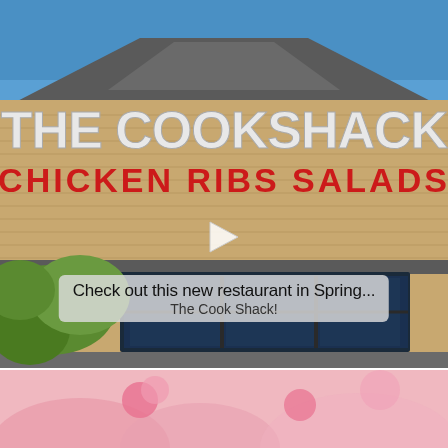[Figure (photo): Exterior of The Cook Shack restaurant building with wood siding and a gable roof. Large white marquee letters spell 'THE COOKSHACK' and below in red letters 'CHICKEN RIBS SALADS'. A video play button triangle is overlaid in the center. Large dark-framed windows are visible below the signage. Green shrubs and foliage in foreground, blue sky above.]
Check out this new restaurant in Spring... The Cook Shack!
[Figure (photo): Partial view of a pink-themed scene, possibly an outdoor setup with pink decor and flowers, partially visible at the bottom of the page.]